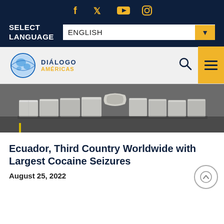Social icons: Facebook, Twitter, YouTube, Instagram
SELECT LANGUAGE  ENGLISH
[Figure (logo): Diálogo Américas logo with globe graphic, navy and yellow text]
[Figure (photo): Photo of cocaine packages seized, arranged in rows on a surface]
Ecuador, Third Country Worldwide with Largest Cocaine Seizures
August 25, 2022